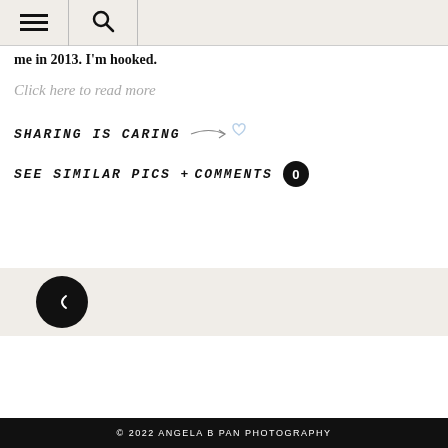Navigation header with hamburger menu and search icon
me in 2013. I'm hooked.
Click here to read more
SHARING IS CARING →♡
SEE SIMILAR PICS +
COMMENTS 0
[Figure (other): Back navigation button (dark circle with left arrow)]
© 2022 ANGELA B PAN PHOTOGRAPHY